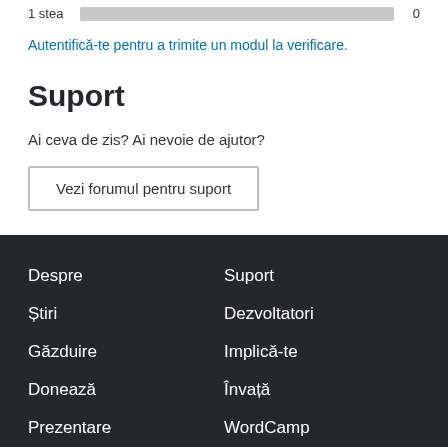| 1 stea |  | 0 |
| --- | --- | --- |
Autentifică-te pentru a trimite un modul la verificare.
Suport
Ai ceva de zis? Ai nevoie de ajutor?
Vezi forumul pentru suport
Despre  Suport  Știri  Dezvoltatori  Găzduire  Implică-te  Donează  Învață  Prezentare  WordCamp